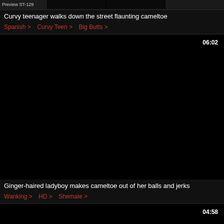[Figure (screenshot): Top partial video card showing preview thumbnails strip labeled 'Preview ST-129' with dark thumbnail images]
Curvy teenager walks down the street flaunting cameltoe
Spanish > Curvy Teen > Big Butts >
[Figure (screenshot): Large black video thumbnail with duration 06:02 in top right corner]
Ginger-haired ladyboy makes cameltoe out of her balls and jerks
Wanking > HD > Shemale >
[Figure (screenshot): Partial black video thumbnail with duration 04:58 in top right corner]